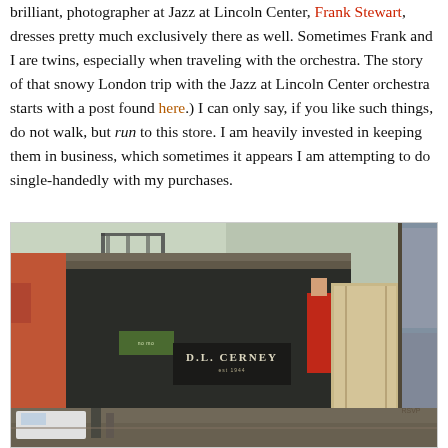brilliant, photographer at Jazz at Lincoln Center, Frank Stewart, dresses pretty much exclusively there as well. Sometimes Frank and I are twins, especially when traveling with the orchestra. The story of that snowy London trip with the Jazz at Lincoln Center orchestra starts with a post found here.) I can only say, if you like such things, do not walk, but run to this store. I am heavily invested in keeping them in business, which sometimes it appears I am attempting to do single-handedly with my purchases.
[Figure (photo): Street-level exterior photo of D.L. Cerney store, showing storefront signage with fire escape and building facade visible. A person in red/patterned clothing visible near the entrance. Street scene with vehicles and pedestrians in the lower left.]